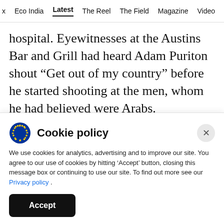x  Eco India  Latest  The Reel  The Field  Magazine  Video
hospital. Eyewitnesses at the Austins Bar and Grill had heard Adam Puriton shout “Get out of my country” before he started shooting at the men, whom he had believed were Arabs.
ADVERTISEMENT
Cookie policy
We use cookies for analytics, advertising and to improve our site. You agree to our use of cookies by hitting ‘Accept’ button, closing this message box or continuing to use our site. To find out more see our Privacy policy .
Accept